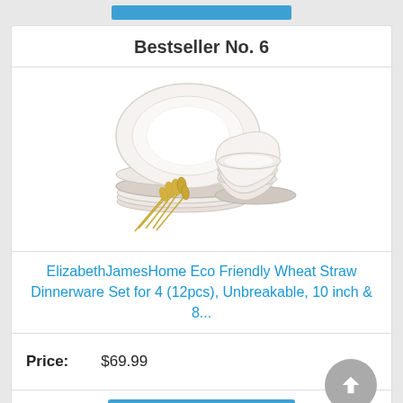Bestseller No. 6
[Figure (photo): ElizabethJamesHome Eco Friendly Wheat Straw Dinnerware Set product photo showing stacked plates and bowls with wheat stalks]
ElizabethJamesHome Eco Friendly Wheat Straw Dinnerware Set for 4 (12pcs), Unbreakable, 10 inch & 8...
Price: $69.99
Buy on Amazon